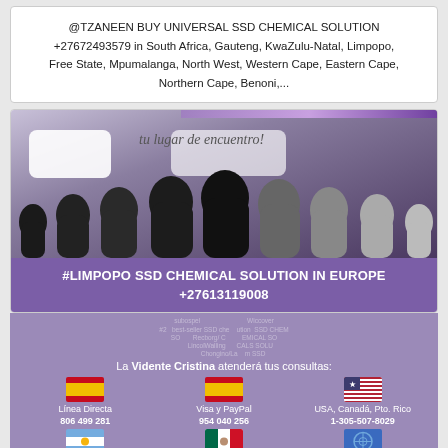@TZANEEN BUY UNIVERSAL SSD CHEMICAL SOLUTION +27672493579 in South Africa, Gauteng, KwaZulu-Natal, Limpopo, Free State, Mpumalanga, North West, Western Cape, Eastern Cape, Northern Cape, Benoni,...
[Figure (illustration): Silhouette crowd scene with speech bubbles, Spanish text 'tu lugar de encuentro!' on a purple/grey gradient background. Below: purple banner with text '#LIMPOPO SSD CHEMICAL SOLUTION IN EUROPE +27613119008']
La Vidente Cristina atenderá tus consultas:
Línea Directa 806 499 281 | Visa y PayPal 954 040 256 | USA, Canadá, Pto. Rico 1-305-507-8029 | Argentina +54 (11) 52198820 | México +52 (55) 85266010 | Resto del Mundo +34 954 040 256